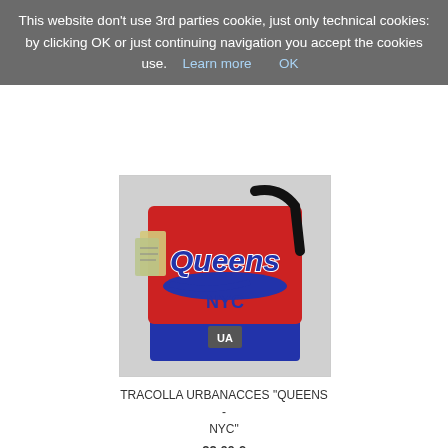This website don't use 3rd parties cookie, just only technical cookies: by clicking OK or just continuing navigation you accept the cookies use. Learn more OK
[Figure (photo): A red and blue messenger bag with 'Queens NYC' branding text on the front flap, with a black shoulder strap.]
TRACOLLA URBANACCES "QUEENS - NYC"
22,00 €